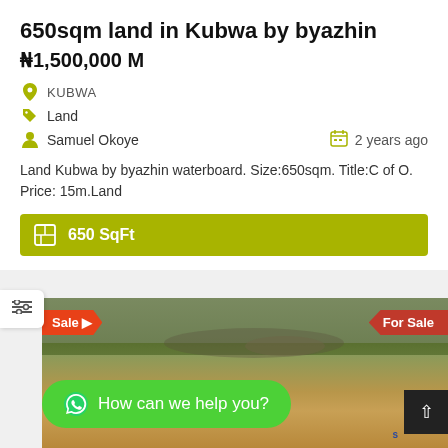650sqm land in Kubwa by byazhin
₦1,500,000 M
KUBWA
Land
Samuel Okoye    2 years ago
Land Kubwa by byazhin waterboard. Size:650sqm. Title:C of O. Price: 15m.Land
650 SqFt
[Figure (photo): Photo of a 650sqm land plot in Kubwa by byazhin with grass and sandy soil. Orange 'Sale' badge on left, red 'For Sale' badge on right.]
How can we help you?